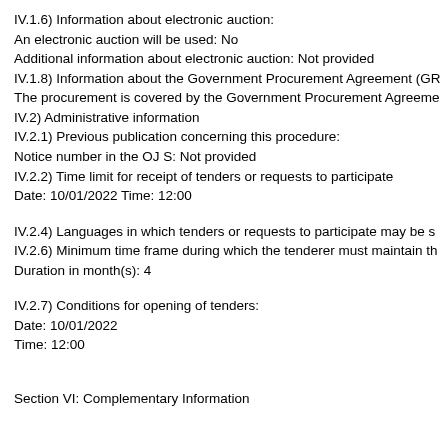IV.1.6) Information about electronic auction:
An electronic auction will be used: No
Additional information about electronic auction: Not provided
IV.1.8) Information about the Government Procurement Agreement (GR
The procurement is covered by the Government Procurement Agreeme
IV.2) Administrative information
IV.2.1) Previous publication concerning this procedure:
Notice number in the OJ S: Not provided
IV.2.2) Time limit for receipt of tenders or requests to participate
Date: 10/01/2022 Time: 12:00
IV.2.4) Languages in which tenders or requests to participate may be s
IV.2.6) Minimum time frame during which the tenderer must maintain th
Duration in month(s): 4
IV.2.7) Conditions for opening of tenders:
Date: 10/01/2022
Time: 12:00
Section VI: Complementary Information